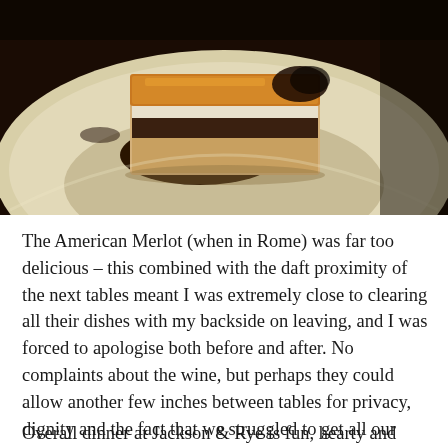[Figure (photo): Close-up photo of a layered dessert on a white plate, with a caramelized golden-brown top crust and dark filling, reminiscent of a baklava or bread pudding slice, set on a dark background.]
The American Merlot (when in Rome) was far too delicious – this combined with the daft proximity of the next tables meant I was extremely close to clearing all their dishes with my backside on leaving, and I was forced to apologise both before and after. No complaints about the wine, but perhaps they could allow another few inches between tables for privacy, dignity and the fact that we struggled to get all our plates on it at the same time. Obviously space is at a premium in Soho and they want to cram in as many covers as possible, but it does give an air of the assembly line.
Overall dinner at Jackson & Rye is fun, hearty and delicious,